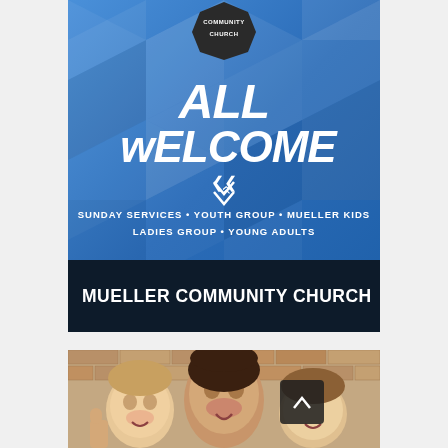[Figure (illustration): Blue geometric hexagonal pattern banner with church logo badge at top, 'ALL wELCOME' title in white italic bold text, double chevron down arrow, and service listings text. Dark navy bar below with Mueller Community Church name. Bottom section shows photo of three smiling children in front of brick wall with scroll-up button.]
ALL wELCOME
SUNDAY SERVICES • YOUTH GROUP • MUELLER KIDS
LADIES GROUP • YOUNG ADULTS
MUELLER COMMUNITY CHURCH